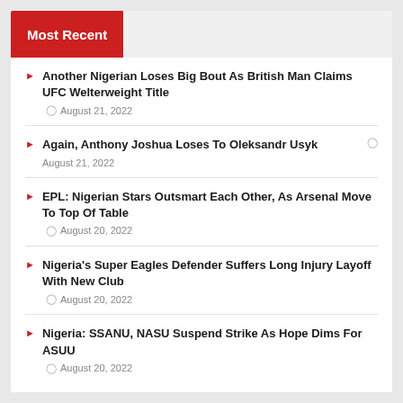Most Recent
Another Nigerian Loses Big Bout As British Man Claims UFC Welterweight Title
Again, Anthony Joshua Loses To Oleksandr Usyk
EPL: Nigerian Stars Outsmart Each Other, As Arsenal Move To Top Of Table
Nigeria's Super Eagles Defender Suffers Long Injury Layoff With New Club
Nigeria: SSANU, NASU Suspend Strike As Hope Dims For ASUU